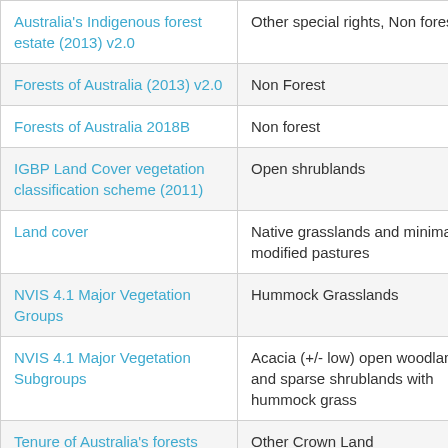| Australia's Indigenous forest estate (2013) v2.0 | Other special rights, Non forest |
| Forests of Australia (2013) v2.0 | Non Forest |
| Forests of Australia 2018B | Non forest |
| IGBP Land Cover vegetation classification scheme (2011) | Open shrublands |
| Land cover | Native grasslands and minimally modified pastures |
| NVIS 4.1 Major Vegetation Groups | Hummock Grasslands |
| NVIS 4.1 Major Vegetation Subgroups | Acacia (+/- low) open woodlands and sparse shrublands with hummock grass |
| Tenure of Australia's forests (2013) v2.0 | Other Crown Land |
| Vegetation - condition | Residual |
| Vegetation types - native | Hummock grasslands |